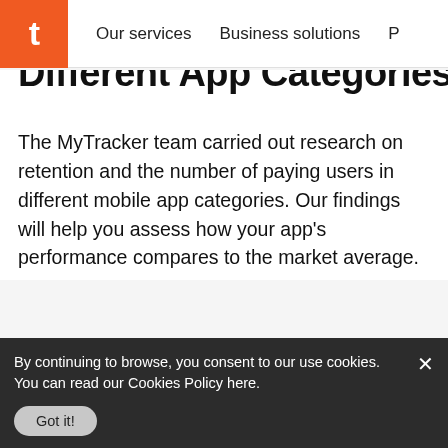Our services   Business solutions
Different App Categories
The MyTracker team carried out research on retention and the number of paying users in different mobile app categories. Our findings will help you assess how your app's performance compares to the market average.
Read more
[Figure (illustration): Orange rounded rectangle card with a pencil/edit icon, partially visible at bottom of page]
By continuing to browse, you consent to our use cookies.
You can read our Cookies Policy here.
Got it!